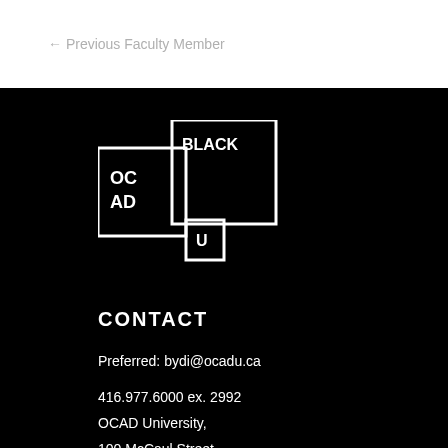← Previous Faculty Member
[Figure (logo): OCAD University Black logo — two overlapping squares, left square contains OC/AD/U text, right square contains BLACK text]
CONTACT
Preferred: bydi@ocadu.ca
416.977.6000 ex. 2992
OCAD University,
100 McCaul Street,